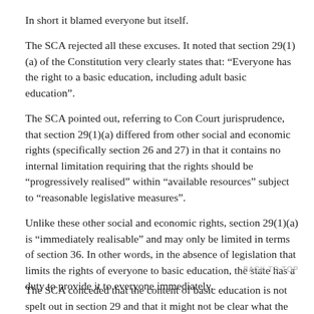In short it blamed everyone but itself.
The SCA rejected all these excuses. It noted that section 29(1)(a) of the Constitution very clearly states that: “Everyone has the right to a basic education, including adult basic education”.
The SCA pointed out, referring to Con Court jurisprudence, that section 29(1)(a) differed from other social and economic rights (specifically section 26 and 27) in that it contains no internal limitation requiring that the rights should be “progressively realised” within “available resources” subject to “reasonable legislative measures”.
Unlike these other social and economic rights, section 29(1)(a) is “immediately realisable” and may only be limited in terms of section 36. In other words, in the absence of legislation that limits the rights of everyone to basic education, the state has a duty to provide it to everyone immediately.
BACK TO TOP
The SCA conceded that the content of basic education is not spelt out in section 29 and that it might not be clear what the